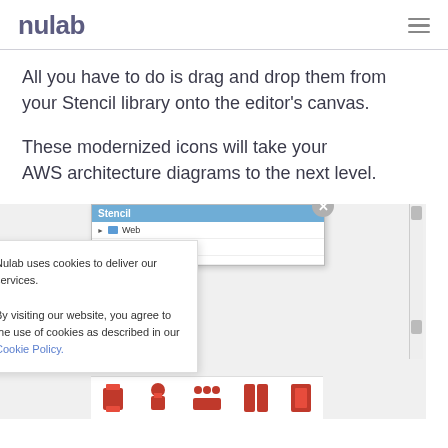nulab
All you have to do is drag and drop them from your Stencil library onto the editor’s canvas.
These modernized icons will take your AWS architecture diagrams to the next level.
[Figure (screenshot): Screenshot of Nulab Cacoo editor showing a Stencil panel with Web and Software folders, AWS architecture icons at the bottom, overlaid by a cookie consent notice.]
Nulab uses cookies to deliver our services. By visiting our website, you agree to the use of cookies as described in our Cookie Policy.